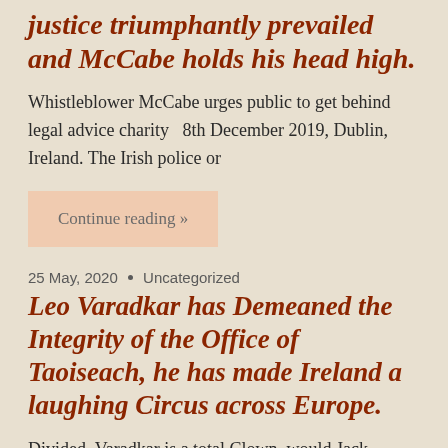justice triumphantly prevailed and McCabe holds his head high.
Whistleblower McCabe urges public to get behind legal advice charity  8th December 2019, Dublin, Ireland. The Irish police or
Continue reading »
25 May, 2020 • Uncategorized
Leo Varadkar has Demeaned the Integrity of the Office of Taoiseach, he has made Ireland a laughing Circus across Europe.
Divided, Varadkar is a total Clown, would Jack Lynch,